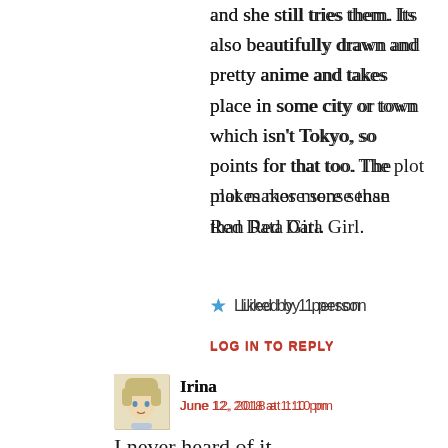and she still tries them. Its also beautifully drawn and pretty anime and takes place in some city or town which isn't Tokyo, so points for that too. The plot makes more sense than Red Data Girl.
★ Liked by 1 person
LOG IN TO REPLY
[Figure (illustration): Avatar of commenter Irina - anime-style character illustration]
Irina
June 12, 2018 at 1:10 pm
I never heard of it
★ Like
LOG IN TO REPLY
[Figure (photo): Avatar of commenter A Library Archivist - photo thumbnail]
A Library Archivist
June 12, 2018 at 1:11 pm